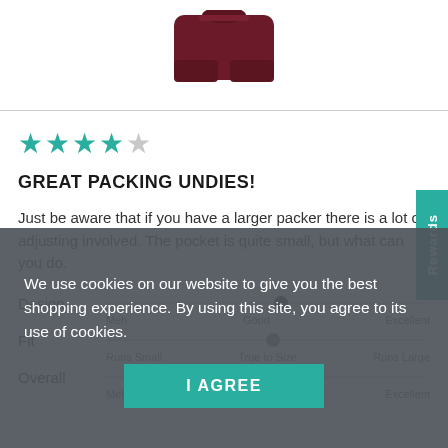[Figure (photo): Partial product image of maroon/dark red underwear/shorts against white background]
[Figure (other): 4 out of 5 star rating shown with teal filled stars and one empty grey star]
GREAT PACKING UNDIES!
Just be aware that if you have a larger packer there is a lot of adjusting involved. The pocket is quite small, but what can you do.
Design  [slider: at Good position]  Meh  Good  Excellent
Fit  [slider: at True to Size position]  Runs Small  True to Size  Runs Large
Overall  [slider: at Good position]  Meh  Good  Excellent
We use cookies on our website to give you the best shopping experience. By using this site, you agree to its use of cookies.
I AGREE